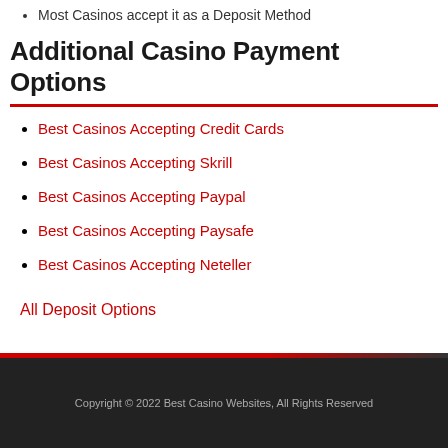Most Casinos accept it as a Deposit Method
Additional Casino Payment Options
Best Casinos Accepting Credit Cards
Best Casinos Accepting Skrill
Best Casinos Accepting Paypal
Best Casinos Accepting Paysafe
Best Casinos Accepting Neteller
All Deposit Options
Copyright © 2022 Best Casino Websites, All Rights Reserved